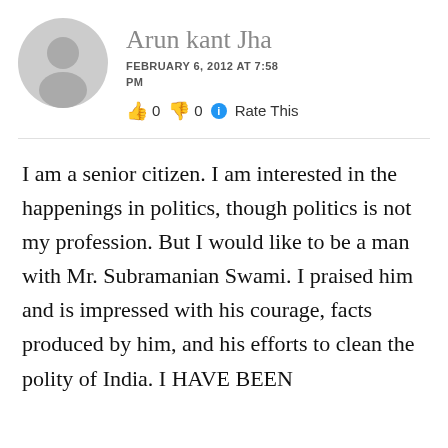Arun kant Jha
FEBRUARY 6, 2012 AT 7:58 PM
👍 0 👎 0 ℹ Rate This
I am a senior citizen. I am interested in the happenings in politics, though politics is not my profession. But I would like to be a man with Mr. Subramanian Swami. I praised him and is impressed with his courage, facts produced by him, and his efforts to clean the polity of India. I HAVE BEEN